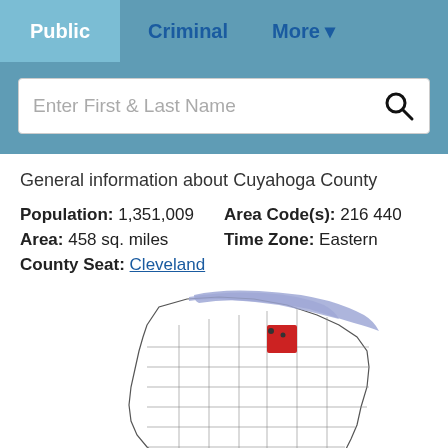Public | Criminal | More
[Figure (screenshot): Search bar with placeholder text 'Enter First & Last Name' and a search icon]
General information about Cuyahoga County
Population: 1,351,009   Area Code(s): 216 440
Area: 458 sq. miles   Time Zone: Eastern
County Seat: Cleveland
[Figure (map): Map of Ohio with Cuyahoga County highlighted in red, Lake Erie area shown in blue/purple at the top]
ADVERTISEMENT